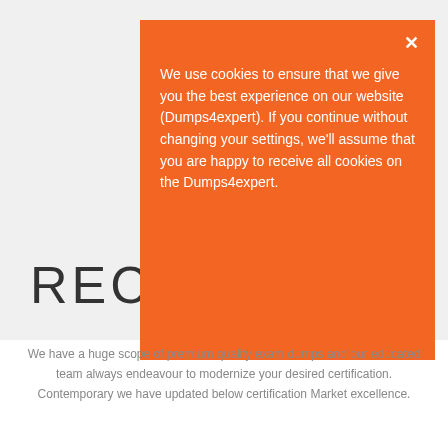RECE
We use cookies to ensure that we give you the best experience on our website (Dumps4expert). If you continue without changing your settings, we'll assume that you are happy to receive all cookies on the Dumps4expert.
We have a huge scope of premium quality exam dumps and our educated team always endeavour to modernize your desired certification. Contemporary we have updated below certification Market excellence.